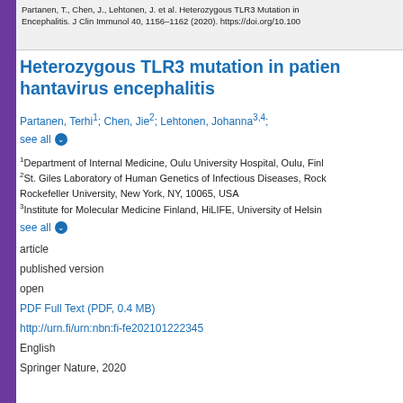Partanen, T., Chen, J., Lehtonen, J. et al. Heterozygous TLR3 Mutation in Encephalitis. J Clin Immunol 40, 1156–1162 (2020). https://doi.org/10.1007
Heterozygous TLR3 mutation in patient with hantavirus encephalitis
Partanen, Terhi¹; Chen, Jie²; Lehtonen, Johanna³·⁴;
see all
¹Department of Internal Medicine, Oulu University Hospital, Oulu, Finland
²St. Giles Laboratory of Human Genetics of Infectious Diseases, Rockefeller University, New York, NY, 10065, USA
³Institute for Molecular Medicine Finland, HiLIFE, University of Helsinki
see all
article
published version
open
PDF Full Text (PDF, 0.4 MB)
http://urn.fi/urn:nbn:fi-fe202101222345
English
Springer Nature, 2020